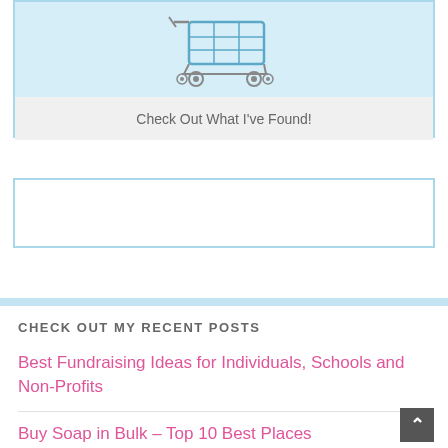[Figure (photo): A shopping cart on a light blue background with a grey caption bar reading 'Check Out What I've Found!']
Check Out What I've Found!
[Figure (other): An empty white box with a light blue border, possibly an ad or placeholder widget]
CHECK OUT MY RECENT POSTS
Best Fundraising Ideas for Individuals, Schools and Non-Profits
Buy Soap in Bulk – Top 10 Best Places